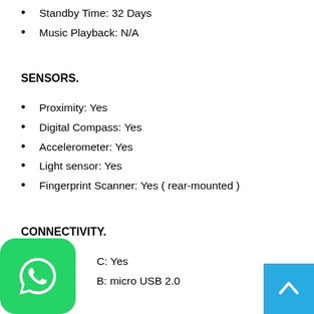Standby Time: 32 Days
Music Playback: N/A
SENSORS.
Proximity: Yes
Digital Compass: Yes
Accelerometer: Yes
Light sensor: Yes
Fingerprint Scanner: Yes ( rear-mounted )
CONNECTIVITY.
C: Yes
B: micro USB 2.0
[Figure (logo): WhatsApp logo icon — green rounded square with white phone handset inside speech bubble]
[Figure (other): Back-to-top button — light blue square with white upward chevron arrow]